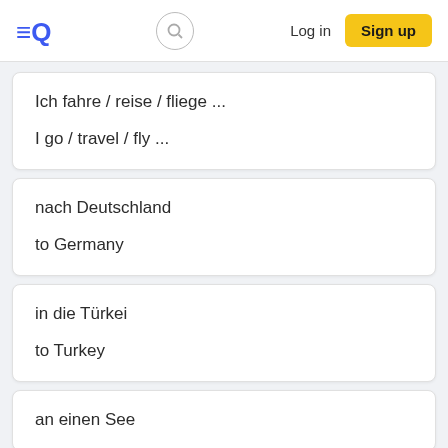Quizlet — Log in | Sign up
Ich fahre / reise / fliege ...
I go / travel / fly ...
nach Deutschland
to Germany
in die Türkei
to Turkey
an einen See